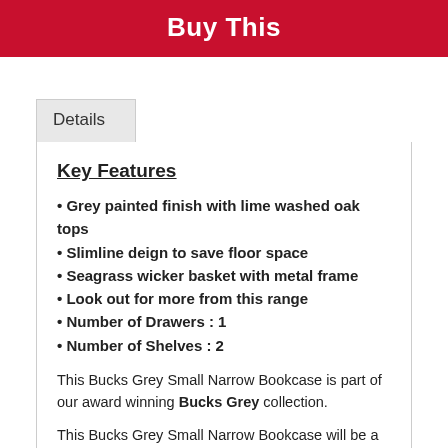Buy This
Details
Key Features
Grey painted finish with lime washed oak tops
Slimline deign to save floor space
Seagrass wicker basket with metal frame
Look out for more from this range
Number of Drawers : 1
Number of Shelves : 2
This Bucks Grey Small Narrow Bookcase is part of our award winning Bucks Grey collection.
This Bucks Grey Small Narrow Bookcase will be a center of attraction in your living room. It perfectly complements any other furniture from our Bucks